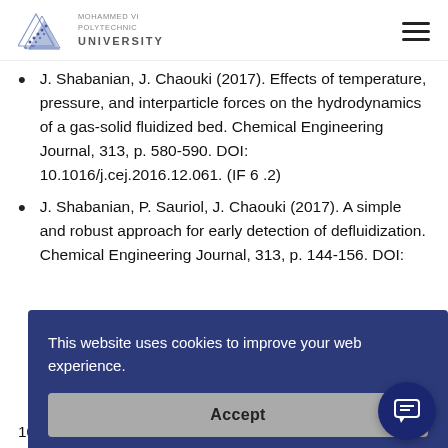Mohammed VI Polytechnic University
J. Shabanian, J. Chaouki (2017). Effects of temperature, pressure, and interparticle forces on the hydrodynamics of a gas-solid fluidized bed. Chemical Engineering Journal, 313, p. 580-590. DOI: 10.1016/j.cej.2016.12.061. (IF 6 .2)
J. Shabanian, P. Sauriol, J. Chaouki (2017). A simple and robust approach for early detection of defluidization. Chemical Engineering Journal, 313, p. 144-156. DOI:
This website uses cookies to improve your web experience.
Accept
ouki
10.1016/j.powtec.2017.02.041. (IF 2.9)